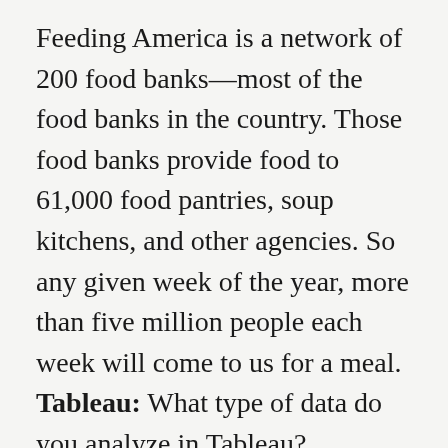Feeding America is a network of 200 food banks—most of the food banks in the country. Those food banks provide food to 61,000 food pantries, soup kitchens, and other agencies. So any given week of the year, more than five million people each week will come to us for a meal. Tableau: What type of data do you analyze in Tableau? Melinda: We source food from big brand manufacturers, from produce growers, we pick up food from retail stores, and we help distribute that. All of this costs money and all of this is donated funds. So we're helping the food banks analyze how much does it cost them to source a pound of food? How much does it cost them to distribute it? What is their inventory turns in their warehouses? So all of these